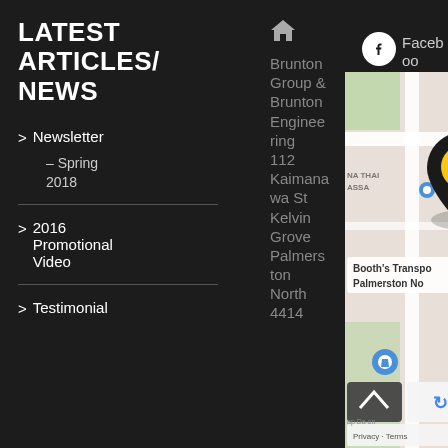LATEST ARTICLES/ NEWS
> Newsletter – Spring 2018
> 2016 Promotional Video
> Testimonial
Brunton Group & Brunton Engineering 112 Kaimanawa St Kelvin Grove Palmerston North 4414
Facebook
[Figure (map): Google Maps screenshot showing location pin for Brunton Engineering at Kaimanawa St, Kelvin Grove, Palmerston North. A black pin with yellow house icon is visible. Labels: Booth's Transport, Palmerston No.]